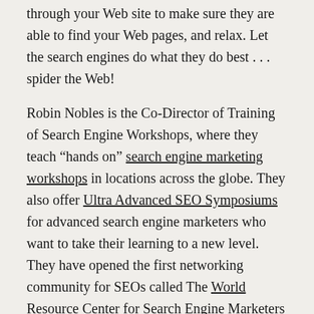through your Web site to make sure they are able to find your Web pages, and relax. Let the search engines do what they do best . . . spider the Web!
Robin Nobles is the Co-Director of Training of Search Engine Workshops, where they teach “hands on” search engine marketing workshops in locations across the globe. They also offer Ultra Advanced SEO Symposiums for advanced search engine marketers who want to take their learning to a new level. They have opened the first networking community for SEOs called The World Resource Center for Search Engine Marketers
Search Engine and Internet...